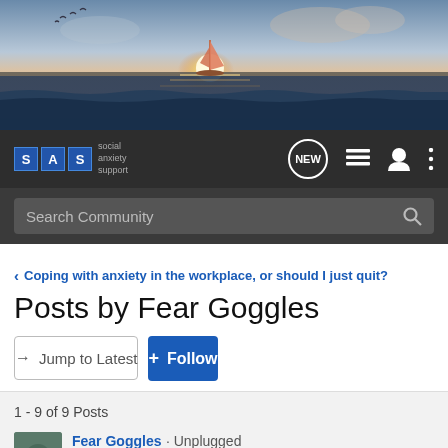[Figure (photo): Sunset sailboat on the ocean hero banner image]
[Figure (screenshot): Social Anxiety Support (SAS) navigation bar with logo, NEW button, list icon, user icon, and more-options icon]
[Figure (screenshot): Search Community search bar with magnifying glass icon]
< Coping with anxiety in the workplace, or should I just quit?
Posts by Fear Goggles
→ Jump to Latest
+ Follow
1 - 9 of 9 Posts
Fear Goggles · Unplugged
Joined Dec 18, 2011 · 263 Posts